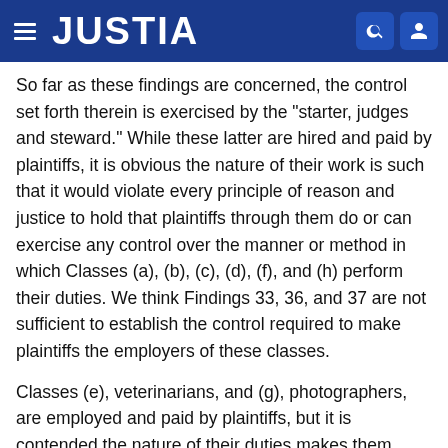JUSTIA
So far as these findings are concerned, the control set forth therein is exercised by the "starter, judges and steward." While these latter are hired and paid by plaintiffs, it is obvious the nature of their work is such that it would violate every principle of reason and justice to hold that plaintiffs through them do or can exercise any control over the manner or method in which Classes (a), (b), (c), (d), (f), and (h) perform their duties. We think Findings 33, 36, and 37 are not sufficient to establish the control required to make plaintiffs the employers of these classes.
Classes (e), veterinarians, and (g), photographers, are employed and paid by plaintiffs, but it is contended the nature of their duties makes them independent contractors. The ordinary rule is that physicians and surgeons perform services of such a nature that they